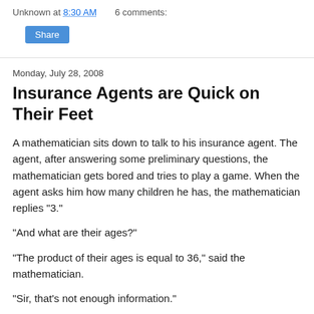Unknown at 8:30 AM    6 comments:
Share
Monday, July 28, 2008
Insurance Agents are Quick on Their Feet
A mathematician sits down to talk to his insurance agent. The agent, after answering some preliminary questions, the mathematician gets bored and tries to play a game. When the agent asks him how many children he has, the mathematician replies "3."
"And what are their ages?"
"The product of their ages is equal to 36," said the mathematician.
"Sir, that's not enough information."